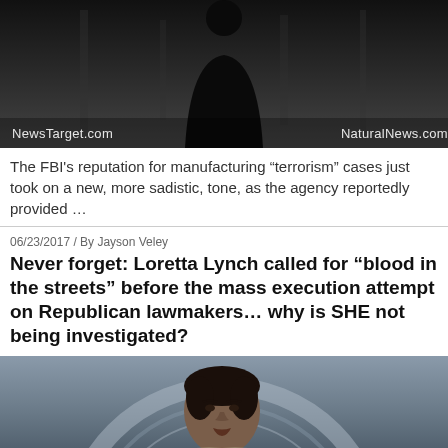[Figure (photo): Dark background photo with a silhouette figure and watermarks for NewsTarget.com and NaturalNews.com]
The FBI's reputation for manufacturing “terrorism” cases just took on a new, more sadistic, tone, as the agency reportedly provided …
06/23/2017 / By Jayson Veley
Never forget: Loretta Lynch called for “blood in the streets” before the mass execution attempt on Republican lawmakers… why is SHE not being investigated?
[Figure (photo): Photo of Loretta Lynch speaking at a podium in front of Department of Justice seal]